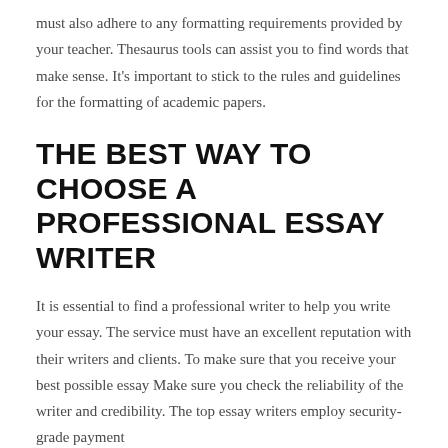must also adhere to any formatting requirements provided by your teacher. Thesaurus tools can assist you to find words that make sense. It's important to stick to the rules and guidelines for the formatting of academic papers.
THE BEST WAY TO CHOOSE A PROFESSIONAL ESSAY WRITER
It is essential to find a professional writer to help you write your essay. The service must have an excellent reputation with their writers and clients. To make sure that you receive your best possible essay Make sure you check the reliability of the writer and credibility. The top essay writers employ security-grade payment